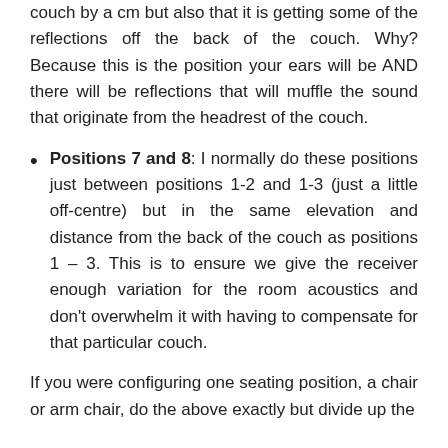couch by a cm but also that it is getting some of the reflections off the back of the couch. Why? Because this is the position your ears will be AND there will be reflections that will muffle the sound that originate from the headrest of the couch.
Positions 7 and 8: I normally do these positions just between positions 1-2 and 1-3 (just a little off-centre) but in the same elevation and distance from the back of the couch as positions 1 – 3. This is to ensure we give the receiver enough variation for the room acoustics and don't overwhelm it with having to compensate for that particular couch.
If you were configuring one seating position, a chair or arm chair, do the above exactly but divide up the